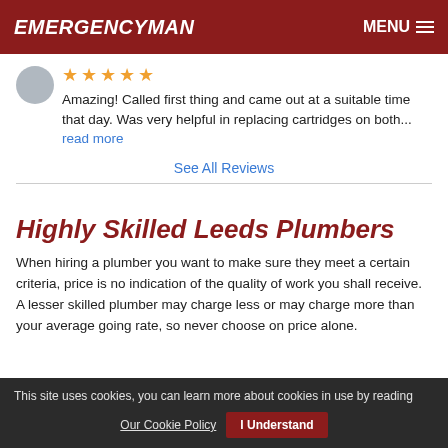EMERGENCYMAN   MENU
Amazing! Called first thing and came out at a suitable time that day. Was very helpful in replacing cartridges on both... read more
See All Reviews
Highly Skilled Leeds Plumbers
When hiring a plumber you want to make sure they meet a certain criteria, price is no indication of the quality of work you shall receive. A lesser skilled plumber may charge less or may charge more than your average going rate, so never choose on price alone.
This site uses cookies, you can learn more about cookies in use by reading Our Cookie Policy   I Understand